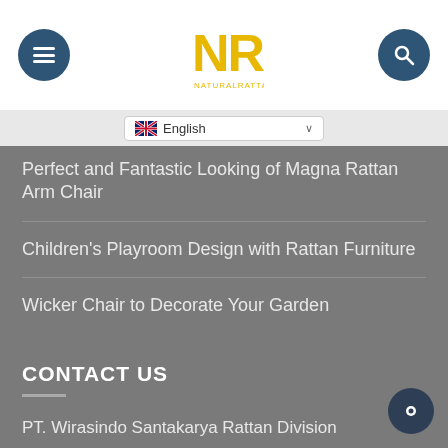[Figure (logo): NR Natural Rattan logo in gold/yellow color, centered in nav bar]
English (language selector)
Perfect and Fantastic Looking of Magna Rattan Arm Chair
Children's Playroom Design with Rattan Furniture
Wicker Chair to Decorate Your Garden
CONTACT US
PT. Wirasindo Santakarya Rattan Division
RT. 02/ RW. 09 Gesingan, Luwang, Gatak 57557, Sukoharjo, Central Java, Indonesia
Phone : +62 271 789 1605